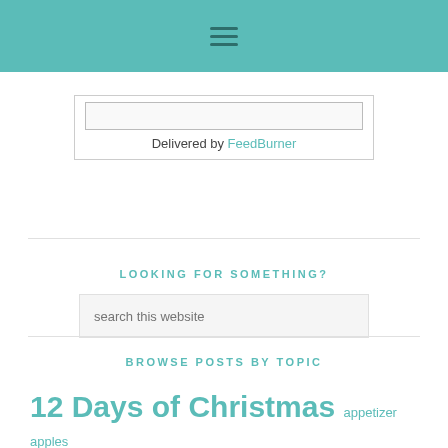Navigation menu bar (hamburger icon)
Delivered by FeedBurner
LOOKING FOR SOMETHING?
search this website
BROWSE POSTS BY TOPIC
12 Days of Christmas appetizer apples Bacon bread Breakfast Budget Friendly candy casserole cheese chicken